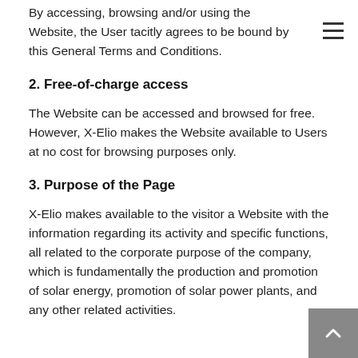By accessing, browsing and/or using the Website, the User tacitly agrees to be bound by this General Terms and Conditions.
2. Free-of-charge access
The Website can be accessed and browsed for free. However, X-Elio makes the Website available to Users at no cost for browsing purposes only.
3. Purpose of the Page
X-Elio makes available to the visitor a Website with the information regarding its activity and specific functions, all related to the corporate purpose of the company, which is fundamentally the production and promotion of solar energy, promotion of solar power plants, and any other related activities.